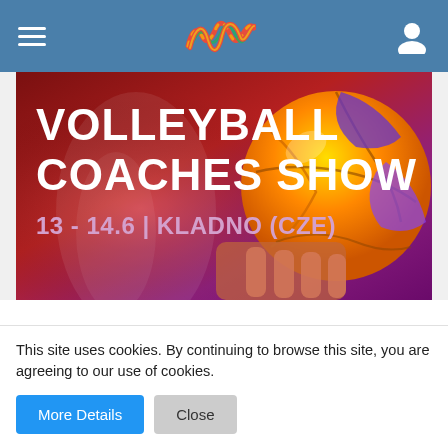[Figure (screenshot): Top navigation bar with hamburger menu, colorful wave logo, and user icon on blue background]
[Figure (photo): Volleyball Coaches Show promotional banner with text '13 - 14.6 | KLADNO (CZE)' on a dark red/purple background with a volleyball in the right portion]
inigo
Beginner
This site uses cookies. By continuing to browse this site, you are agreeing to our use of cookies.
More Details
Close